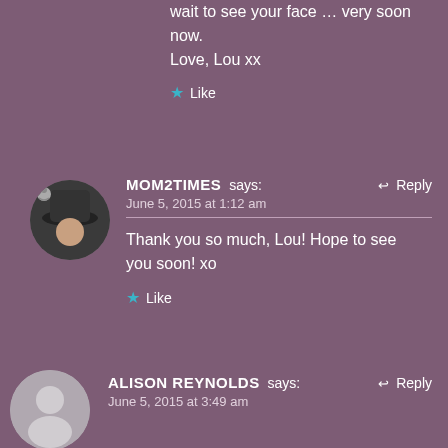wait to see your face … very soon now. Love, Lou xx
Like
MOM2TIMES says: June 5, 2015 at 1:12 am
Reply
Thank you so much, Lou! Hope to see you soon! xo
Like
ALISON REYNOLDS says: Reply
June 5, 2015 at 3:49 am